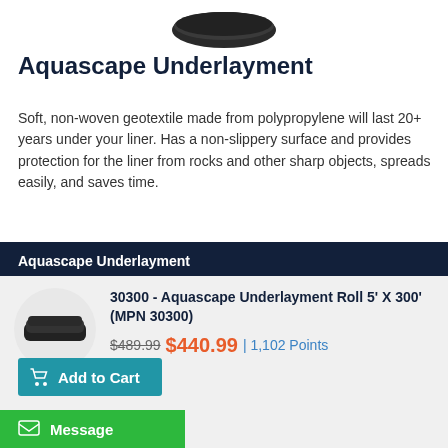[Figure (photo): Partial product image at top of page showing dark/black underlayment roll product]
Aquascape Underlayment
Soft, non-woven geotextile made from polypropylene will last 20+ years under your liner. Has a non-slippery surface and provides protection for the liner from rocks and other sharp objects, spreads easily, and saves time.
Aquascape Underlayment
30300 - Aquascape Underlayment Roll 5' X 300' (MPN 30300)
$489.99 $440.99 | 1,102 Points